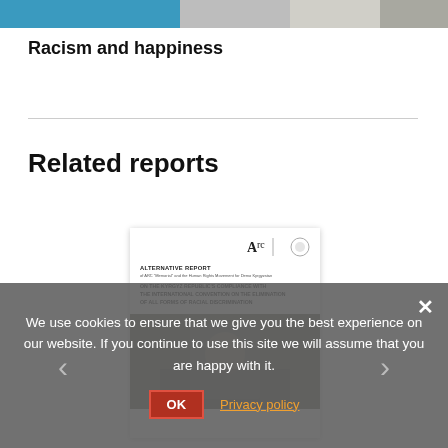[Figure (photo): Partial top image, appears to show people or a scene, cropped at the top of the page]
Racism and happiness
[Figure (illustration): Report cover thumbnail: Alternative Report of ARC Memorial and the Human Rights Movement for Demo Kyrgyzstan, on the Kyrgyz Republic's compliance with the International Convention on the Elimination of All Forms of Racial Discrimination. Shows logos at top right and a photo of people at the bottom.]
Related reports
We use cookies to ensure that we give you the best experience on our website. If you continue to use this site we will assume that you are happy with it.
OK   Privacy policy